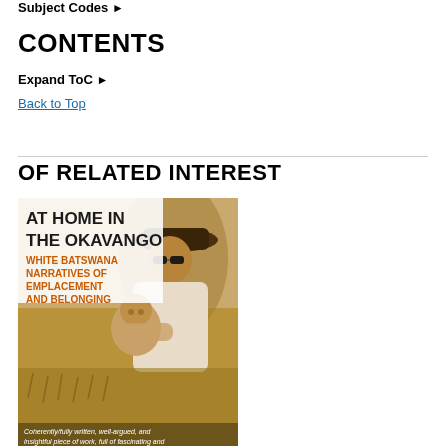Subject Codes ▶
CONTENTS
Expand ToC ▶
Back to Top
OF RELATED INTEREST
[Figure (illustration): Book cover for 'At Home in the Okavango: White Batswana Narratives of Emplacement and Belonging'. Shows a man in a hat and sunglasses holding a baby, sepia-toned outdoor photograph. Text at bottom includes a review quote starting with 'Coherently/fully written, well-argued, and insightful piece of work, full of fascinating and'.]